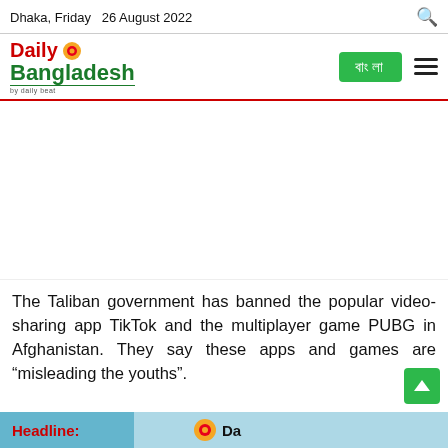Dhaka, Friday  26 August 2022
Daily Bangladesh
[Figure (other): Advertisement banner area (blank white space)]
The Taliban government has banned the popular video-sharing app TikTok and the multiplayer game PUBG in Afghanistan. They say these apps and games are “misleading the youths”.
Headline:  Da[ily Bangladesh]